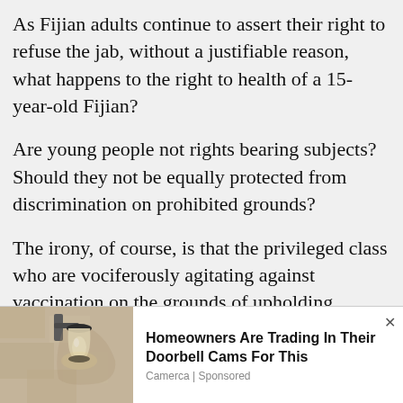As Fijian adults continue to assert their right to refuse the jab, without a justifiable reason, what happens to the right to health of a 15-year-old Fijian?
Are young people not rights bearing subjects? Should they not be equally protected from discrimination on prohibited grounds?
The irony, of course, is that the privileged class who are vociferously agitating against vaccination on the grounds of upholding individual rights and in defence of section 11
[Figure (photo): Photo of an outdoor wall-mounted lamp/light fixture on a stone or stucco wall]
Homeowners Are Trading In Their Doorbell Cams For This
Camerca | Sponsored